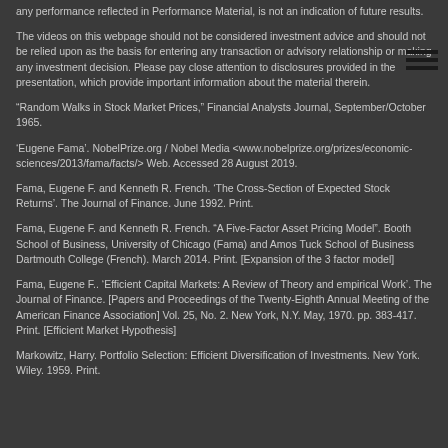any performance reflected in Performance Material, is not an indication of future results.
The videos on this webpage should not be considered investment advice and should not be relied upon as the basis for entering any transaction or advisory relationship or making any investment decision. Please pay close attention to disclosures provided in the presentation, which provide important information about the material therein.
“Random Walks in Stock Market Prices,” Financial Analysts Journal, September/October 1965.
'Eugene Fama'. NobelPrize.org / Nobel Media <www.nobelprize.org/prizes/economic-sciences/2013/fama/facts/> Web. Accessed 28 August 2019.
Fama, Eugene F. and Kenneth R. French. 'The Cross-Section of Expected Stock Returns'. The Journal of Finance. June 1992. Print.
Fama, Eugene F. and Kenneth R. French. “A Five-Factor Asset Pricing Model”. Booth School of Business, University of Chicago (Fama) and Amos Tuck School of Business Dartmouth College (French). March 2014. Print. [Expansion of the 3 factor model]
Fama, Eugene F.. 'Efficient Capital Markets: A Review of Theory and empirical Work'. The Journal of Finance. [Papers and Proceedings of the Twenty-Eighth Annual Meeting of the American Finance Association] Vol. 25, No. 2. New York, N.Y. May, 1970. pp. 383-417. Print. [Efficient Market Hypothesis]
Markowitz, Harry. Portfolio Selection: Efficient Diversification of Investments. New York. Wiley. 1959. Print.